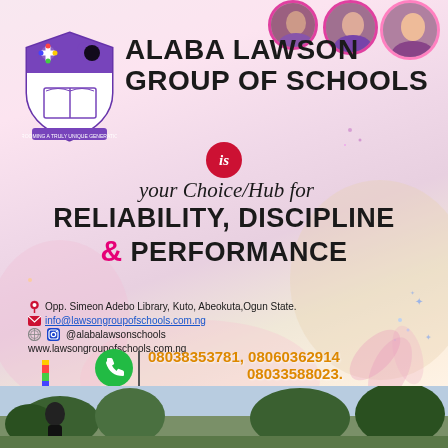[Figure (logo): Alaba Lawson Group of Schools shield logo with purple and white quarters, featuring floral, moon, and book symbols]
ALABA LAWSON GROUP OF SCHOOLS
is your Choice/Hub for RELIABILITY, DISCIPLINE & PERFORMANCE
Opp. Simeon Adebo Library, Kuto, Abeokuta, Ogun State.
info@lawsongroupofschools.com.ng
@alabalawsonschools
www.lawsongroupofschools.com.ng
08038353781, 08060362914 08033588023.
...grooming a Truly unique Generation.
[Figure (photo): Bottom strip showing outdoor photo of people]